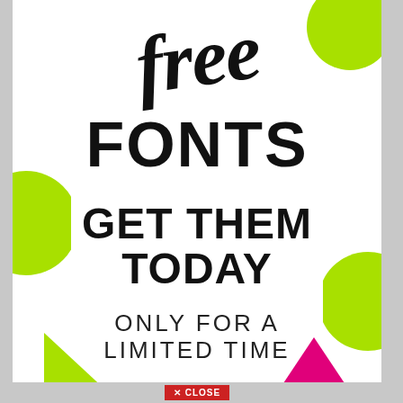[Figure (illustration): Promotional advertisement for free fonts with decorative neon green and pink geometric shapes (half-circles and triangles) on a white background. Large script text 'free' at top, bold sans-serif 'FONTS', 'GET THEM TODAY', and 'ONLY FOR A LIMITED TIME'. A red close button at the bottom.]